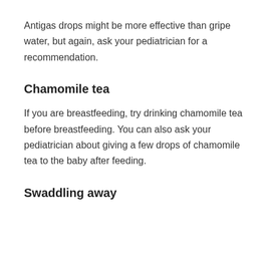Antigas drops might be more effective than gripe water, but again, ask your pediatrician for a recommendation.
Chamomile tea
If you are breastfeeding, try drinking chamomile tea before breastfeeding. You can also ask your pediatrician about giving a few drops of chamomile tea to the baby after feeding.
Swaddling away